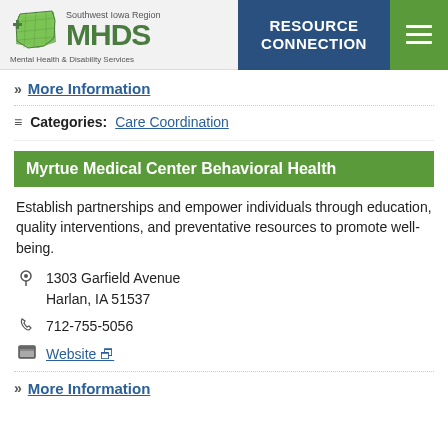Southwest Iowa Region MHDS Mental Health & Disability Services | RESOURCE CONNECTION
More Information
Categories: Care Coordination
Myrtue Medical Center Behavioral Health
Establish partnerships and empower individuals through education, quality interventions, and preventative resources to promote well-being.
1303 Garfield Avenue
Harlan, IA 51537
712-755-5056
Website
More Information